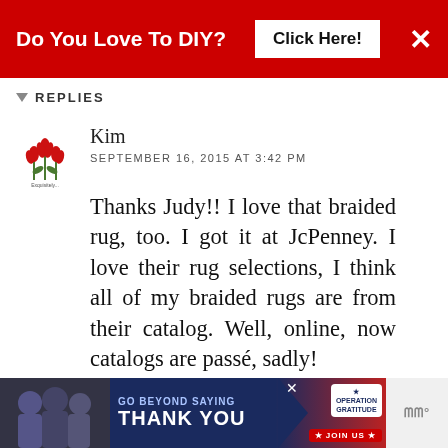[Figure (screenshot): Red ad banner at top: 'Do You Love To DIY? Click Here!' with close X button]
REPLIES
[Figure (logo): Small floral/tulip avatar image for user Kim]
Kim
SEPTEMBER 16, 2015 AT 3:42 PM
Thanks Judy!! I love that braided rug, too. I got it at JcPenney. I love their rug selections, I think all of my braided rugs are from their catalog. Well, online, now catalogs are passé, sadly!
DELETE
WHAT'S NEXT → Decorating For Fall: The...
REPLY
[Figure (screenshot): Bottom advertisement: 'GO BEYOND SAYING THANK YOU' with Operation Gratitude logo and JOIN US button]